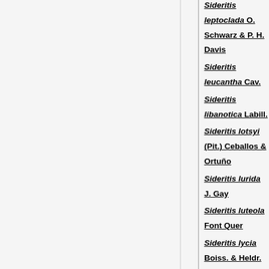Sideritis leptoclada O. Schwarz & P. H. Davis
Sideritis leucantha Cav.
Sideritis libanotica Labill.
Sideritis lotsyi (Pit.) Ceballos & Ortuflo
Sideritis lurida J. Gay
Sideritis luteola Font Quer
Sideritis lycia Boiss. & Heldr.
Sideritis macrostachys Poir.
Sideritis maireana Font Quer & Pau
Sideritis marianica Obón & D. Rivera
Sideritis marminorensis Obón & D. Rivera
Sideritis marmorea Bolle
Sideritis matris-filiae Emb. & Maire
Sideritis maura Noë
Sideritis mezgouti Molero & J. M. Monts.
Sideritis molinae Stübing, Peris & Figuerola
Sideritis montana L.
Sideritis montserratiana Stübing & al.
Sideritis munyozgarmendiae Obón & D. Rivera
Sideritis murgetana Obón & D. Rivera
Sideritis nervosa (Christ) Linding.
Sideritis niveotomentosa Hub.-Mor.
Sideritis nutans Svent.